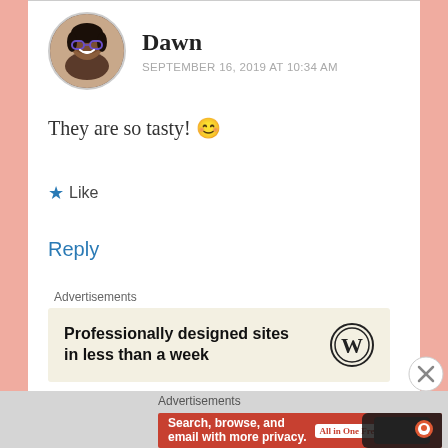Dawn
SEPTEMBER 16, 2019 AT 10:34 AM
They are so tasty! 😊
★ Like
Reply
Advertisements
[Figure (other): WordPress advertisement: 'Professionally designed sites in less than a week' with WordPress logo]
Advertisements
[Figure (other): DuckDuckGo advertisement: 'Search, browse, and email with more privacy. All in One Free App' with phone mockup and DuckDuckGo logo]